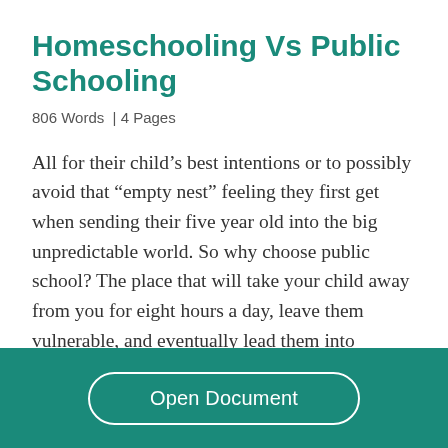Homeschooling Vs Public Schooling
806 Words  | 4 Pages
All for their child’s best intentions or to possibly avoid that “empty nest” feeling they first get when sending their five year old into the big unpredictable world. So why choose public school? The place that will take your child away from you for eight hours a day, leave them vulnerable, and eventually lead them into adulthood. There are
Open Document